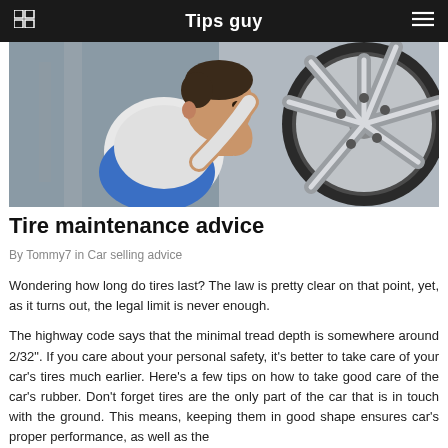Tips guy
[Figure (photo): A mechanic or technician inspecting a car wheel/tire, seen from the side profile, with a large silver alloy wheel visible on the right side of the image.]
Tire maintenance advice
By Tommy7 in Car selling advice
Wondering how long do tires last? The law is pretty clear on that point, yet, as it turns out, the legal limit is never enough.
The highway code says that the minimal tread depth is somewhere around 2/32". If you care about your personal safety, it’s better to take care of your car’s tires much earlier. Here’s a few tips on how to take good care of the car’s rubber. Don’t forget tires are the only part of the car that is in touch with the ground. This means, keeping them in good shape ensures car’s proper performance, as well as the